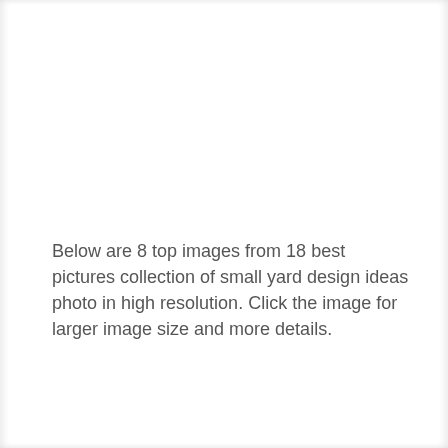Below are 8 top images from 18 best pictures collection of small yard design ideas photo in high resolution. Click the image for larger image size and more details.